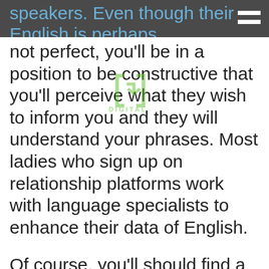speakers. Even though their English is perhaps not perfect, you'll be in a position to be constructive that you'll perceive what they
wish to inform you and they will understand your phrases. Most ladies who sign up on relationship platforms work with language specialists to enhance their data of English.
Of course, you'll should find a dependable one to which you will be able to belief such a serious matter as discovering your best bride-to-be. To accomplish that, you'll have the ability to browse through the websites specializing in reviewing on-line relationship